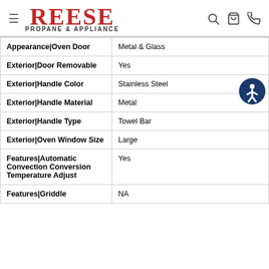REESE PROPANE & APPLIANCE
| Attribute | Value |
| --- | --- |
| Appearance|Oven Door | Metal & Glass |
| Exterior|Door Removable | Yes |
| Exterior|Handle Color | Stainless Steel |
| Exterior|Handle Material | Metal |
| Exterior|Handle Type | Towel Bar |
| Exterior|Oven Window Size | Large |
| Features|Automatic Convection Conversion Temperature Adjust | Yes |
| Features|Griddle | NA |